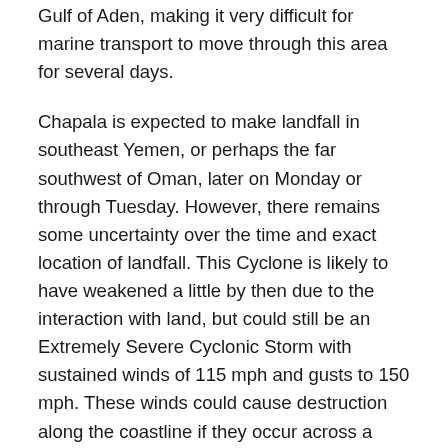Gulf of Aden, making it very difficult for marine transport to move through this area for several days.
Chapala is expected to make landfall in southeast Yemen, or perhaps the far southwest of Oman, later on Monday or through Tuesday. However, there remains some uncertainty over the time and exact location of landfall. This Cyclone is likely to have weakened a little by then due to the interaction with land, but could still be an Extremely Severe Cyclonic Storm with sustained winds of 115 mph and gusts to 150 mph. These winds could cause destruction along the coastline if they occur across a town or city, but this is a sparsely populated coastline.
Rainfall is also likely to prove hazardous, with this system possibly producing up to 500mm of rainfall in a 48 hour period. This is likely to cause severe flooding if it falls over